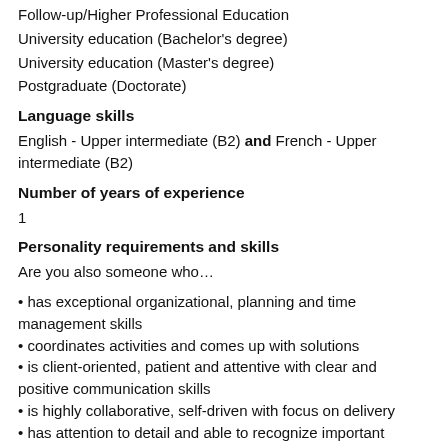Follow-up/Higher Professional Education
University education (Bachelor's degree)
University education (Master's degree)
Postgraduate (Doctorate)
Language skills
English - Upper intermediate (B2) and French - Upper intermediate (B2)
Number of years of experience
1
Personality requirements and skills
Are you also someone who…
• has exceptional organizational, planning and time management skills
• coordinates activities and comes up with solutions
• is client-oriented, patient and attentive with clear and positive communication skills
• is highly collaborative, self-driven with focus on delivery
• has attention to detail and able to recognize important information, research and make connections